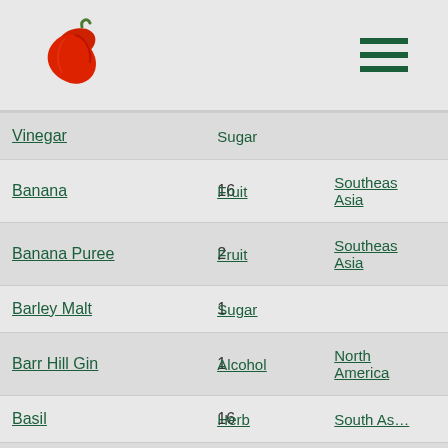Chili logo and navigation menu
| Name | Count | Category | Origin |
| --- | --- | --- | --- |
| Vinegar |  | Sugar |  |
| Banana | 16 | Fruit | Southeast Asia |
| Banana Puree | 2 | Fruit | Southeast Asia |
| Barley Malt | 1 | Sugar |  |
| Barr Hill Gin | 1 | Alcohol | North America |
| Basil | 16 | Herb | South As… |
| Basil (Sweet) | 1 | Herb | South As… |